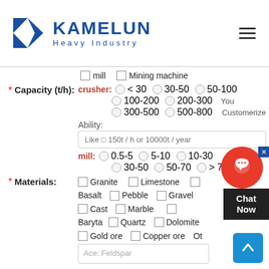[Figure (logo): Kamelun Heavy Industry logo with blue K icon and blue text]
mill  Mining machine
* Capacity (t/h): crusher: < 30  30-50  50-100  100-200  200-300  300-500  500-800  You  Customerize  Ability:  Like □ 150t / h or 10000t / year  mill: 0.5-5  5-10  10-30  30-50  50-70  > 70
* Materials: Granite  Limestone  Basalt  Pebble  Gravel  Cast  Marble  Baryta  Quartz  Dolomite  Gold ore  Copper ore  Ot  Ace: Feldspar